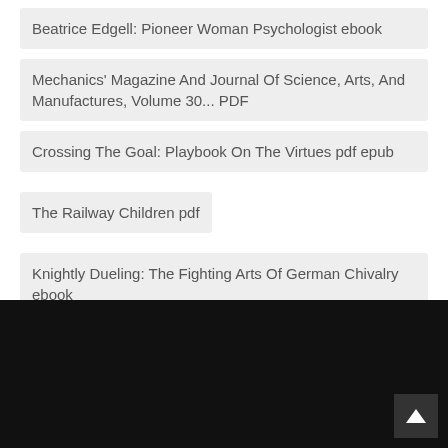Beatrice Edgell: Pioneer Woman Psychologist ebook
Mechanics' Magazine And Journal Of Science, Arts, And Manufactures, Volume 30... PDF
Crossing The Goal: Playbook On The Virtues pdf epub
The Railway Children pdf
Knightly Dueling: The Fighting Arts Of German Chivalry ebook